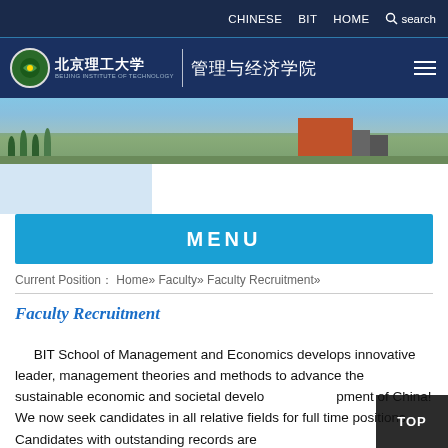CHINESE   BIT   HOME   search
[Figure (logo): Beijing Institute of Technology logo and School of Management and Economics header with Chinese text 北京理工大学 | 管理与经济学院]
[Figure (photo): Campus photo showing university buildings with trees and a red building]
MENU
Current Position： Home» Faculty» Faculty Recruitment»
Faculty Recruitment
BIT School of Management and Economics develops innovative leader, management theories and methods to advance the sustainable economic and societal development of China! We now seek candidates in all relative fields for full time positions. Candidates with outstanding records are